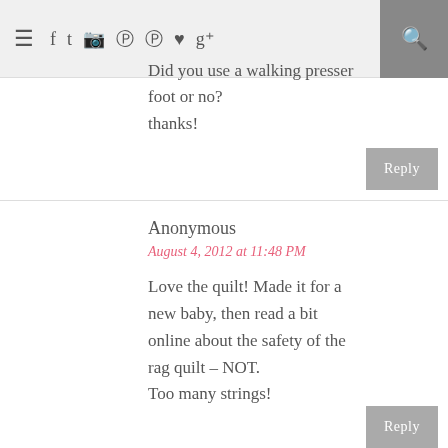≡ f t ⊕ ® ♥ g+ [search]
them together. They want to every entry from a dresser foot.
Did you use a walking presser foot or no?
thanks!
Reply
Anonymous
August 4, 2012 at 11:48 PM
Love the quilt! Made it for a new baby, then read a bit online about the safety of the rag quilt – NOT.
Too many strings!
Reply